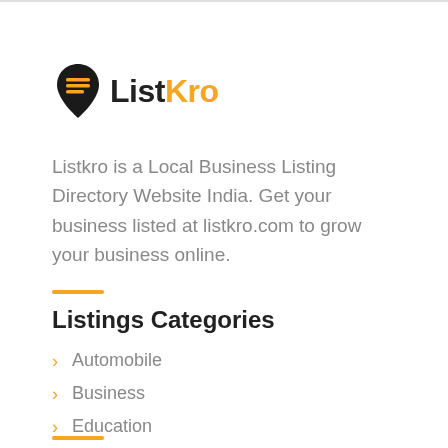[Figure (logo): ListKro logo: a map pin icon with lines inside (representing a list), followed by the text 'List' in black bold and 'Kro' in orange bold]
Listkro is a Local Business Listing Directory Website India. Get your business listed at listkro.com to grow your business online.
Listings Categories
Automobile
Business
Education